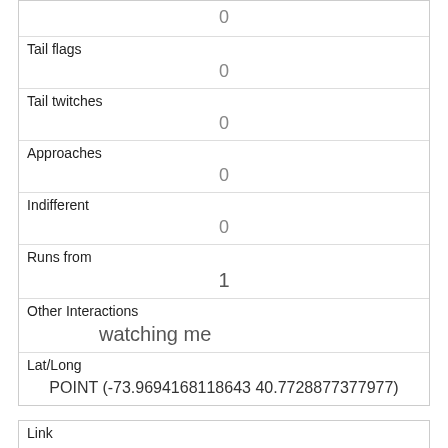|  | 0 |
| Tail flags | 0 |
| Tail twitches | 0 |
| Approaches | 0 |
| Indifferent | 0 |
| Runs from | 1 |
| Other Interactions | watching me |
| Lat/Long | POINT (-73.9694168118643 40.7728877377977) |
| Link | 136 |
| rowid | 136 |